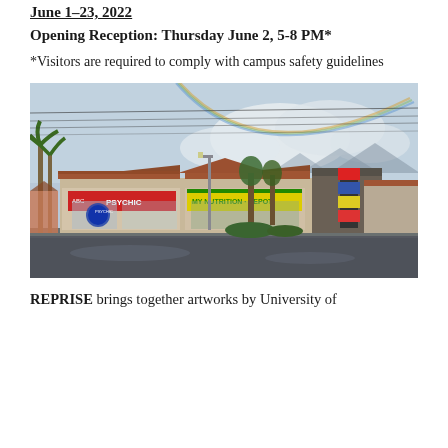June 1–23, 2022
Opening Reception: Thursday June 2, 5-8 PM*
*Visitors are required to comply with campus safety guidelines
[Figure (photo): Exterior photograph of a strip mall / retail storefront on a rainy day. Businesses visible include a Psychic shop and My Nutrition Depot. Palm trees are on the left. A faint rainbow is visible in the overcast sky. Mountains are visible in the background.]
REPRISE brings together artworks by University of